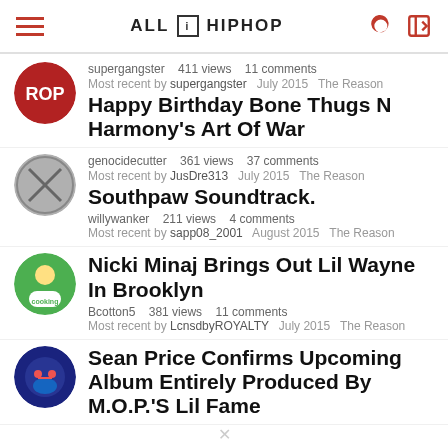ALL HIP HOP
supergangster   411 views   11 comments
Most recent by supergangster   July 2015   The Reason
Happy Birthday Bone Thugs N Harmony's Art Of War
genocidecutter   361 views   37 comments
Most recent by JusDre313   July 2015   The Reason
Southpaw Soundtrack.
willywanker   211 views   4 comments
Most recent by sapp08_2001   August 2015   The Reason
Nicki Minaj Brings Out Lil Wayne In Brooklyn
Bcotton5   381 views   11 comments
Most recent by LcnsdbyROYALTY   July 2015   The Reason
Sean Price Confirms Upcoming Album Entirely Produced By M.O.P.'S Lil Fame